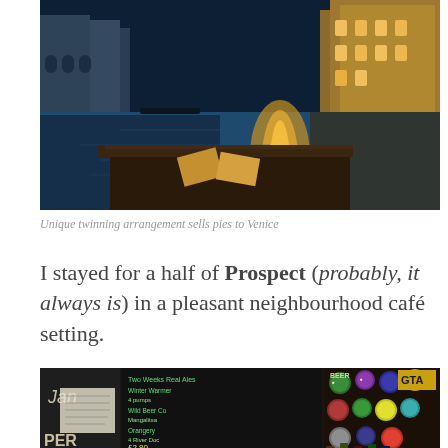[Figure (photo): Venice canal at night with illuminated buildings reflecting on water; a dark restaurant table with small photos on it in the foreground]
Unique twinning arrangement sells pies to Venice
I stayed for a half of Prospect (probably, it always is) in a pleasant neighbourhood café setting.
[Figure (photo): Interior of a pub bar showing beer tap handles, pump clips on the wall, chalkboard menu listing real ales with prices around £2.80, and signage including 'Jan' and 'PER']